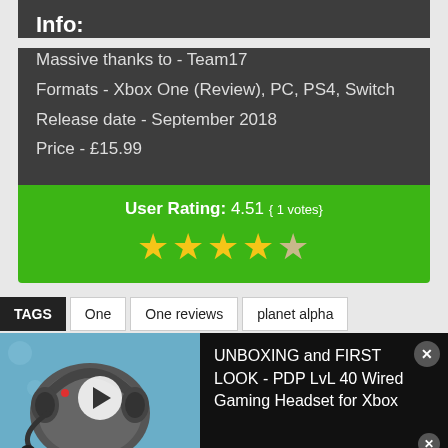Info:
Massive thanks to - Team17
Formats - Xbox One (Review), PC, PS4, Switch
Release date - September 2018
Price - £15.99
User Rating: 4.51 ( 1 votes)
[Figure (other): 4.5 star rating displayed as yellow stars]
TAGS  One  One reviews  planet alpha
[Figure (other): Video thumbnail showing a gaming headset with play button overlay]
UNBOXING and FIRST LOOK - PDP LvL 40 Wired Gaming Headset for Xbox